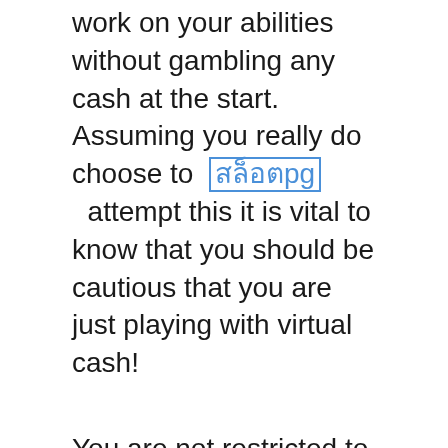work on your abilities without gambling any cash at the start. Assuming you really do choose to สล็อตpg attempt this it is vital to know that you should be cautious that you are just playing with virtual cash!
You are not restricted to virtual gambling club games either – there are in a real sense huge number of various virtual games accessible to play on the web or download to your PC. You'll find it hard not to go through hours playing these tomfoolery games! You can get virtual vehicle games, pet games, experience games and even RPG games. To play you might be expected to enter your name and email address.